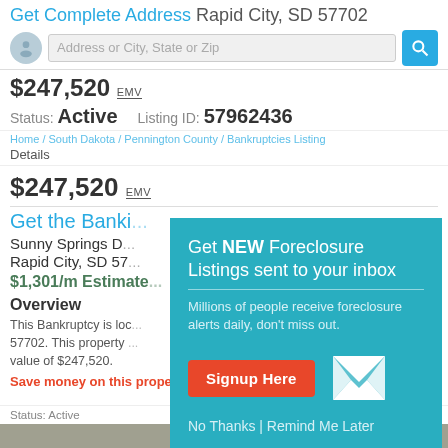Get Complete Address Rapid City, SD 57702
$247,520 EMV
Status: Active   Listing ID: 57962436
Home / South Dakota / Pennington County / Bankruptcies Listing Details
$247,520 EMV
Get the Bankr...
Sunny Springs D...
Rapid City, SD 57...
$1,301/m Estimate...
Overview
This Bankruptcy is loc... 57702. This property ... value of $247,520.
Save money on this property now.
[Figure (infographic): Popup modal: Get NEW Foreclosure Listings sent to your inbox. Millions of people receive foreclosure alerts daily, don't miss out. Signup Here button. No Thanks | Remind Me Later.]
Status: Active                                    Listing ID: 57962436